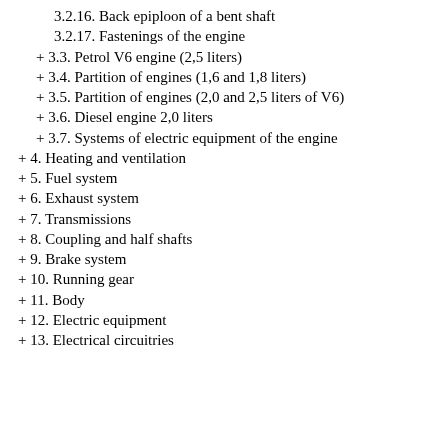3.2.16. Back epiploon of a bent shaft
3.2.17. Fastenings of the engine
+ 3.3. Petrol V6 engine (2,5 liters)
+ 3.4. Partition of engines (1,6 and 1,8 liters)
+ 3.5. Partition of engines (2,0 and 2,5 liters of V6)
+ 3.6. Diesel engine 2,0 liters
+ 3.7. Systems of electric equipment of the engine
+ 4. Heating and ventilation
+ 5. Fuel system
+ 6. Exhaust system
+ 7. Transmissions
+ 8. Coupling and half shafts
+ 9. Brake system
+ 10. Running gear
+ 11. Body
+ 12. Electric equipment
+ 13. Electrical circuitries